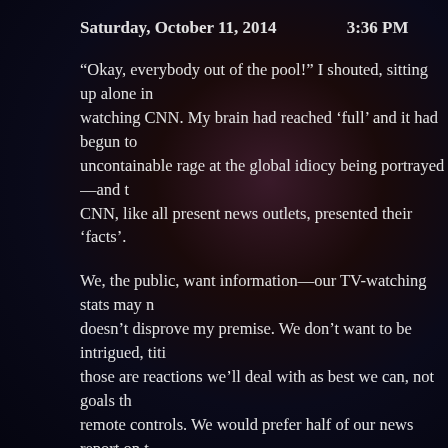Saturday, October 11, 2014   3:36 PM
“Okay, everybody out of the pool!” I shouted, sitting up alone in watching CNN. My brain had reached ‘full’ and it had begun to uncontainable rage at the global idiocy being portrayed—and t CNN, like all present news outlets, presented their ‘facts’.
We, the public, want information—our TV-watching stats may n doesn’t disprove my premise. We don’t want to be intrigued, titi those are reactions we’ll deal with as best we can, not goals th remote controls. We would prefer half of our news report on t chaos—and the other half report on the mature, reasonable so trend-setters, and financiers have found to fight back the tsun turmoil.
Talking heads had successfully replaced journalism-trained ne round about the 1980s—but the new millennium has seen that talking heads talking to talking heads—bubble-brained ‘report ‘knowledgeable’ insiders. This gives us an opportunity to witne when a large mass of ‘stupid’ is compressed into a small space us of anything other than the commentator’s own agenda…